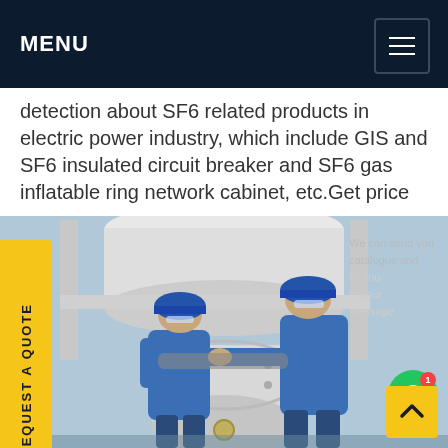MENU
detection about SF6 related products in electric power industry, which include GIS and SF6 insulated circuit breaker and SF6 gas inflatable ring network cabinet, etc.Get price
[Figure (photo): Two workers wearing blue uniforms and blue hard hats working together on a large industrial pipe/gas equipment in an outdoor electrical substation setting.]
REQUEST A QUOTE